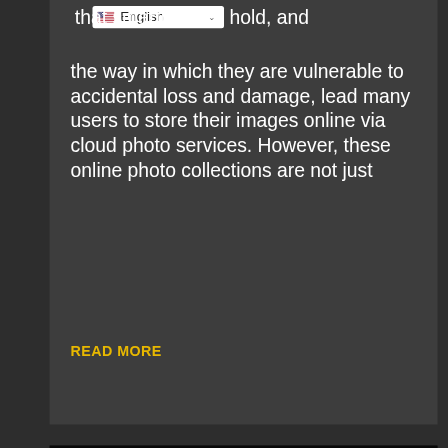that smartphones hold, and the way in which they are vulnerable to accidental loss and damage, lead many users to store their images online via cloud photo services. However, these online photo collections are not just
READ MORE
[Figure (logo): Falken Industries logo — a stylized eagle/falcon head in chrome with red and silver globe in background, text reads FALKEN INDUSTRIES]